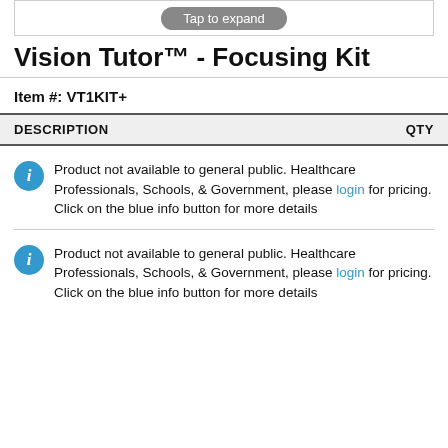[Figure (other): Tap to expand button bar]
Vision Tutor™ - Focusing Kit
Item #: VT1KIT+
| DESCRIPTION | QTY |
| --- | --- |
Product not available to general public. Healthcare Professionals, Schools, & Government, please login for pricing. Click on the blue info button for more details
Product not available to general public. Healthcare Professionals, Schools, & Government, please login for pricing. Click on the blue info button for more details